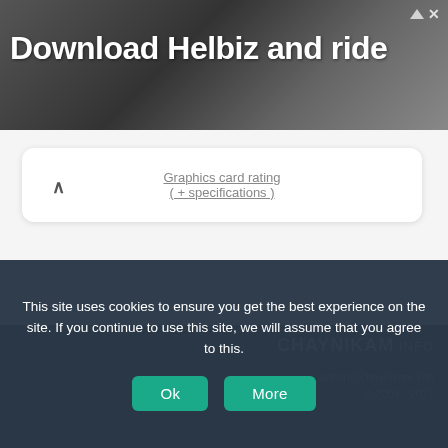[Figure (screenshot): Advertisement banner with dark background showing 'Download Helbiz and ride' text and a close button in top right corner]
Graphics card rating ( + specifications )
CHAYNIKAM.info
admin@chaynikam.info
© 2009 - 2022
About a project
Privacy
This site uses cookies to ensure you get the best experience on the site. If you continue to use this site, we will assume that you agree to this.